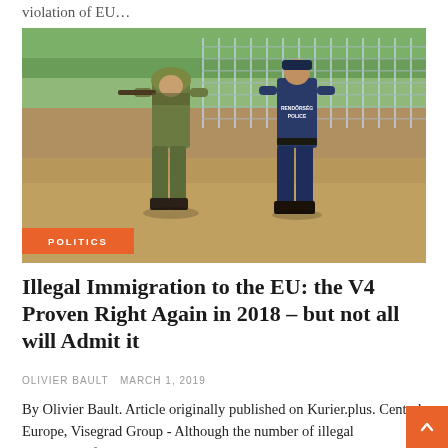violation of EU…
[Figure (photo): Two security personnel (a soldier in camouflage gear carrying a rifle and a police officer in dark uniform with 'RENDŐRSÉG POLICE' on the back) walking along a border fence with razor wire in the background. An orange 'POLITICS' badge overlays the bottom-left of the image.]
Illegal Immigration to the EU: the V4 Proven Right Again in 2018 – but not all will Admit it
OLIVIER BAULT  MARCH 1, 2019
By Olivier Bault. Article originally published on Kurier.plus. Central Europe, Visegrad Group - Although the number of illegal immigrants flooding to Europe has